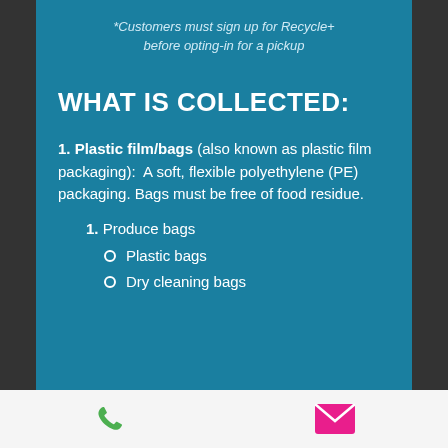*Customers must sign up for Recycle+ before opting-in for a pickup
WHAT IS COLLECTED:
1. Plastic film/bags (also known as plastic film packaging): A soft, flexible polyethylene (PE) packaging. Bags must be free of food residue.
1. Produce bags
Plastic bags
Dry cleaning bags
[Figure (infographic): Bottom bar with phone icon (green) and mail/envelope icon (pink/magenta)]